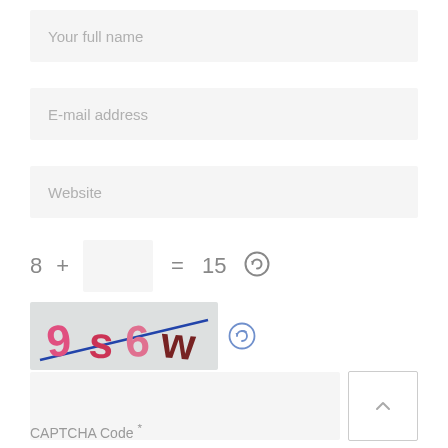Your full name
E-mail address
Website
8 + [box] = 15 [refresh]
[Figure (other): CAPTCHA image showing characters: 9 s 6 w with a blue diagonal line across a light grey background]
CAPTCHA Code *